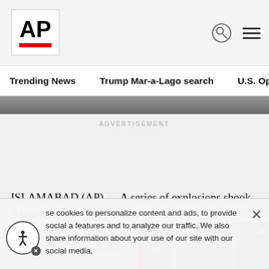AP
Trending News    Trump Mar-a-Lago search    U.S. Open Tennis
[Figure (photo): Partial hero image strip showing dark textured surface]
ADVERTISEMENT
ISLAMABAD (AP) — A series of explosions shook Afghanistan on Wednesday, the Taliban reporting a blast inside a mosque in the capital, killing at least five worshippers and three...
[Figure (screenshot): Video overlay showing an ornate arch gate, with pause and mute controls, a red sidebar, close button, and caption 'Some states could']
se cookies to personalize content and ads, to provide social a features and to analyze our traffic. We also share information about your use of our site with our social media,